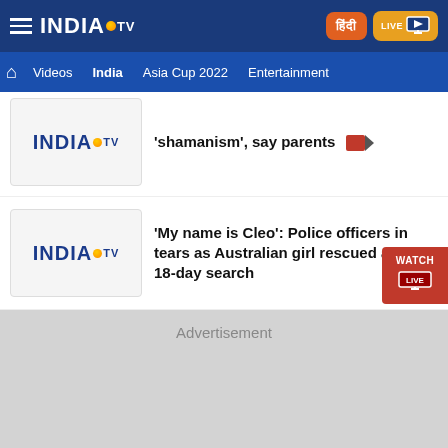India TV - hamburger menu, Hindi button, LIVE button
Videos | India | Asia Cup 2022 | Entertainment
'shamanism', say parents
'My name is Cleo': Police officers in tears as Australian girl rescued after 18-day search
[Figure (screenshot): Advertisement placeholder block]
Advertisement